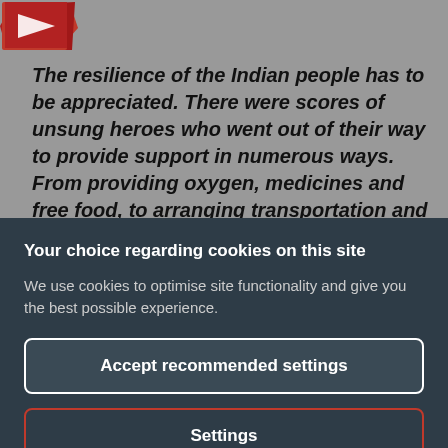[Figure (logo): Red logo/icon in top-left corner on grey background]
The resilience of the Indian people has to be appreciated. There were scores of unsung heroes who went out of their way to provide support in numerous ways. From providing oxygen, medicines and free food, to arranging transportation and hospital beds
Your choice regarding cookies on this site
We use cookies to optimise site functionality and give you the best possible experience.
Accept recommended settings
Settings